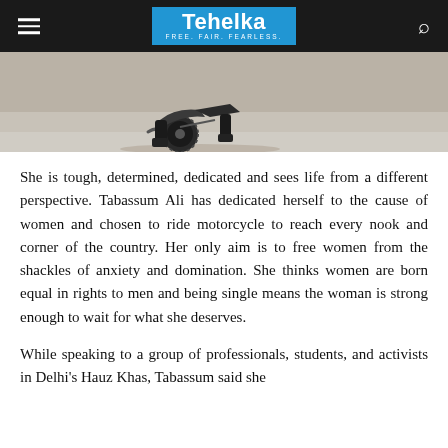Tehelka — FREE. FAIR. FEARLESS.
[Figure (photo): Partial view of a motorcycle on sand/ground, showing rear wheel and a person's boots, from behind]
She is tough, determined, dedicated and sees life from a different perspective. Tabassum Ali has dedicated herself to the cause of women and chosen to ride motorcycle to reach every nook and corner of the country. Her only aim is to free women from the shackles of anxiety and domination. She thinks women are born equal in rights to men and being single means the woman is strong enough to wait for what she deserves.
While speaking to a group of professionals, students, and activists in Delhi's Hauz Khas, Tabassum said she